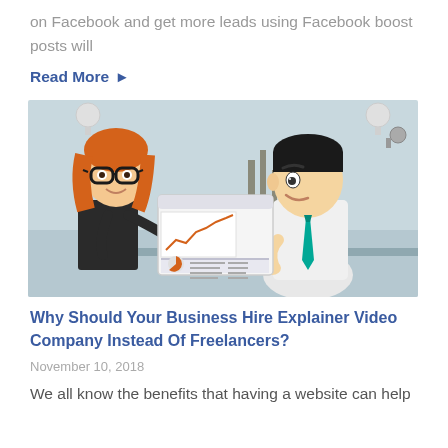on Facebook and get more leads using Facebook boost posts will
Read More →
[Figure (illustration): Cartoon illustration of a woman with glasses and red hair holding a tablet/screen showing charts and graphs, standing next to a man in a white shirt and teal tie who is looking at the screen thoughtfully, in an office setting]
Why Should Your Business Hire Explainer Video Company Instead Of Freelancers?
November 10, 2018
We all know the benefits that having a website can help